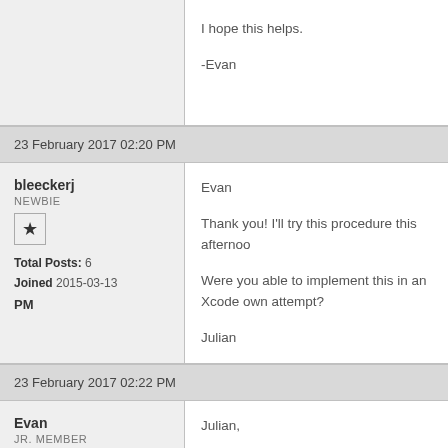I hope this helps.

-Evan
23 February 2017 02:20 PM
bleeckerj
NEWBIE
Total Posts: 6
Joined 2015-03-13
PM
Evan

Thank you! I'll try this procedure this afternoon.

Were you able to implement this in an Xcode own attempt?

Julian
23 February 2017 02:22 PM
Evan
JR. MEMBER
Julian,